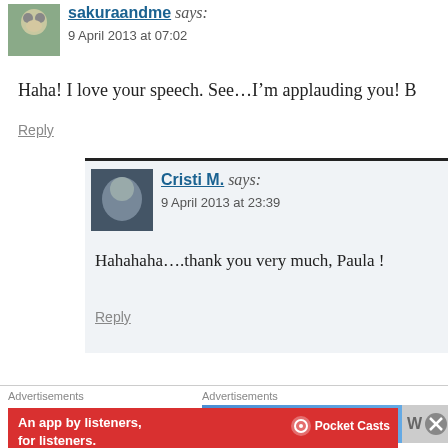sakuraandme says:
9 April 2013 at 07:02
Haha! I love your speech. See…I'm applauding you! B
Reply
Cristi M. says:
9 April 2013 at 23:39
Hahahaha….thank you very much, Paula !
Reply
Advertisements
Simplified pricing for
Advertisements
An app by listeners, for listeners.